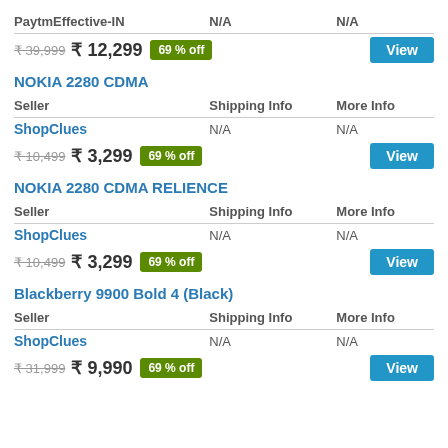PaytmEffective-IN
N/A
N/A
₹39,999  ₹12,299  69% off  View
NOKIA 2280 CDMA
| Seller | Shipping Info | More Info |
| --- | --- | --- |
| ShopClues | N/A | N/A |
| ₹10,499  ₹3,299  69% off |  | View |
NOKIA 2280 CDMA RELIENCE
| Seller | Shipping Info | More Info |
| --- | --- | --- |
| ShopClues | N/A | N/A |
| ₹10,499  ₹3,299  69% off |  | View |
Blackberry 9900 Bold 4 (Black)
| Seller | Shipping Info | More Info |
| --- | --- | --- |
| ShopClues | N/A | N/A |
| ₹31,999  ₹9,990  69% off |  | View |